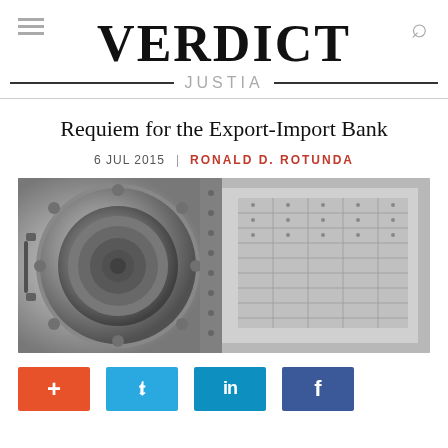VERDICT | JUSTIA
Requiem for the Export-Import Bank
6 JUL 2015 | RONALD D. ROTUNDA
[Figure (photo): Bank vault door open, showing safety deposit boxes inside — grayscale photograph]
+ (plus/add) | Twitter bird icon | LinkedIn in | Facebook f — social share buttons